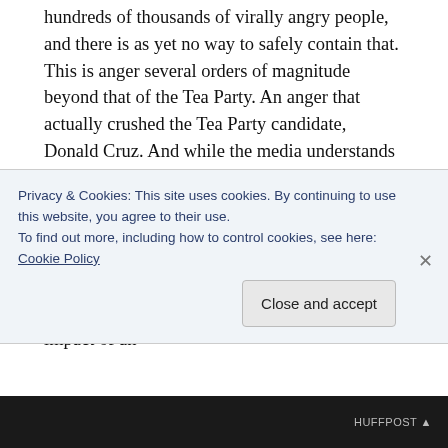hundreds of thousands of virally angry people, and there is as yet no way to safely contain that. This is anger several orders of magnitude beyond that of the Tea Party. An anger that actually crushed the Tea Party candidate, Donald Cruz. And while the media understands that the media itself has been instrumental in making Donald Trump the presumptive nominee of the Republican Party, it doesn't quite understand that it was not just the media,  not all that free television they gave him, but that television in conjunction with Facebook. The impact of an
Privacy & Cookies: This site uses cookies. By continuing to use this website, you agree to their use.
To find out more, including how to control cookies, see here: Cookie Policy
Close and accept
HUFFPOST ▲